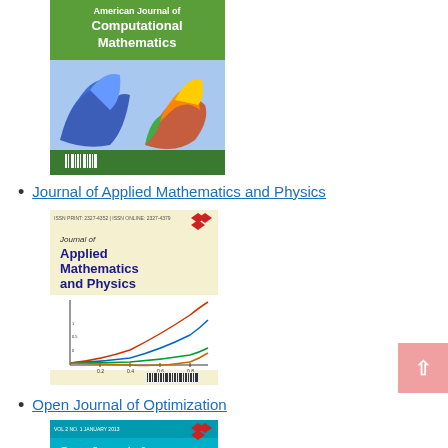[Figure (illustration): Journal cover for American Journal of Computational Mathematics showing 3D surface plots and barcode]
Journal of Applied Mathematics and Physics
[Figure (illustration): Journal cover for Journal of Applied Mathematics and Physics showing mathematical curves and barcode]
Open Journal of Optimization
[Figure (illustration): Journal cover for Open Journal of Optimization (partially visible)]